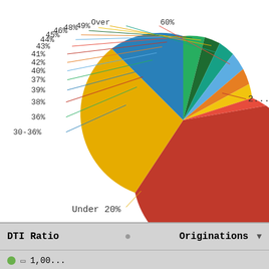[Figure (pie-chart): DTI Ratio Originations]
| DTI Ratio | Originations |
| --- | --- |